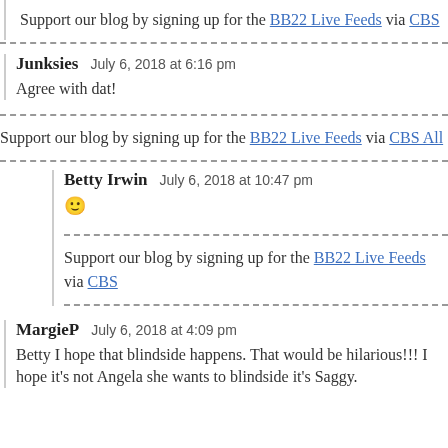Support our blog by signing up for the BB22 Live Feeds via CBS
Junksies  July 6, 2018 at 6:16 pm
Agree with dat!
Support our blog by signing up for the BB22 Live Feeds via CBS All
Betty Irwin  July 6, 2018 at 10:47 pm
🙂
Support our blog by signing up for the BB22 Live Feeds via CBS
MargieP  July 6, 2018 at 4:09 pm
Betty I hope that blindside happens. That would be hilarious!!! I hope it's not Angela she wants to blindside it's Saggy.